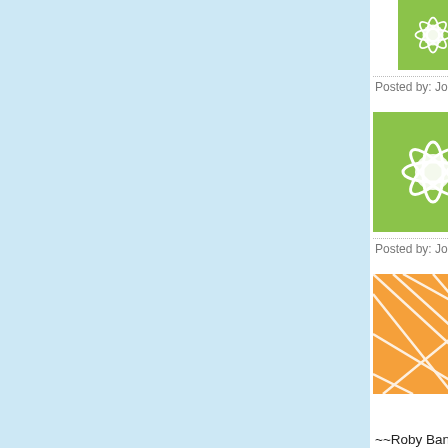[Figure (illustration): Green flower/leaf pattern avatar icon]
an idea it is. Some of his friends have... this one up must be fucking loaded
Posted by: Jordan | May 01, 2007 at 07:38 PM
[Figure (illustration): Green flower/leaf pattern avatar icon]
My brother has a couple of those We... an idea it is. Some of his friends have... this one up must be fucking loaded
Posted by: Jordan | May 01, 2007 at 07:36 PM
[Figure (illustration): Orange geometric/lines pattern avatar icon]
I know someone who got into the We... And the saddest thing here is the onli... better, we live in a capitalist environm... once you buy it. The site also helps a... pets, so they can sell more Webkinz.... online to do whatever with him, and t... boyfriend which makes you want to g...
~~Roby Bang
Posted by: Roby Bang | May 01, 2007 at 07:3...
[Figure (illustration): Green radial pattern avatar icon (partial)]